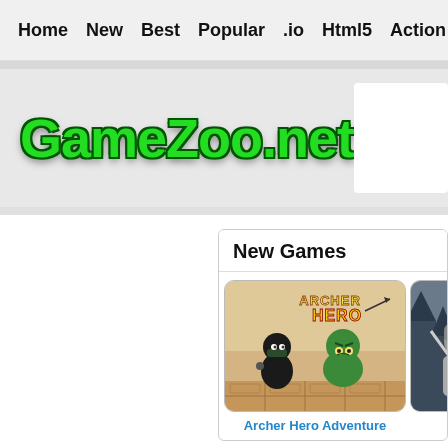Home  New  Best  Popular  .io  Html5  Action  Funny  Classic  S
[Figure (logo): GameZoo.net logo in bold green text with dark green outline on light gray background]
New Games
[Figure (screenshot): Archer Hero Adventure game thumbnail showing two cartoon ninja characters on brown blocks with 'Archer Hero' title text]
Archer Hero Adventure
[Figure (screenshot): Partially visible second game thumbnail showing a gray ninja character]